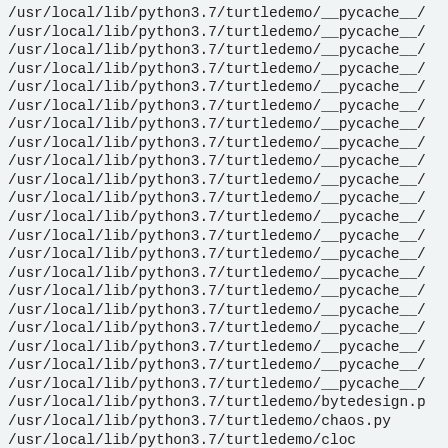/usr/local/lib/python3.7/turtledemo/__pycache__/
/usr/local/lib/python3.7/turtledemo/__pycache__/
/usr/local/lib/python3.7/turtledemo/__pycache__/
/usr/local/lib/python3.7/turtledemo/__pycache__/
/usr/local/lib/python3.7/turtledemo/__pycache__/
/usr/local/lib/python3.7/turtledemo/__pycache__/
/usr/local/lib/python3.7/turtledemo/__pycache__/
/usr/local/lib/python3.7/turtledemo/__pycache__/
/usr/local/lib/python3.7/turtledemo/__pycache__/
/usr/local/lib/python3.7/turtledemo/__pycache__/
/usr/local/lib/python3.7/turtledemo/__pycache__/
/usr/local/lib/python3.7/turtledemo/__pycache__/
/usr/local/lib/python3.7/turtledemo/__pycache__/
/usr/local/lib/python3.7/turtledemo/__pycache__/
/usr/local/lib/python3.7/turtledemo/__pycache__/
/usr/local/lib/python3.7/turtledemo/__pycache__/
/usr/local/lib/python3.7/turtledemo/__pycache__/
/usr/local/lib/python3.7/turtledemo/__pycache__/
/usr/local/lib/python3.7/turtledemo/__pycache__/
/usr/local/lib/python3.7/turtledemo/__pycache__/
/usr/local/lib/python3.7/turtledemo/__pycache__/
/usr/local/lib/python3.7/turtledemo/bytedesign.p
/usr/local/lib/python3.7/turtledemo/chaos.py
/usr/local/lib/python3.7/turtledemo/cloc